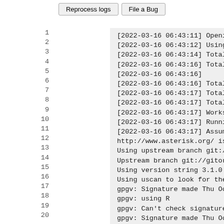Reprocess logs | File a Bug (buttons)
1  [2022-03-16 06:43:11] Openin
2  [2022-03-16 06:43:12] Using
3  [2022-03-16 06:43:14] Total
4  [2022-03-16 06:43:16] Total
5  [2022-03-16 06:43:16]
6  [2022-03-16 06:43:16] Total
7  [2022-03-16 06:43:17] Total
8  [2022-03-16 06:43:17] Total
9  [2022-03-16 06:43:17] Worksp
10  [2022-03-16 06:43:17] Runnin
11  [2022-03-16 06:43:17] Assumi
12  http://www.asterisk.org/ is
13  Using upstream branch git://
14  Upstream branch git://gitori
15  Using version string 3.1.0.
16  Using uscan to look for the
17  gpgv: Signature made Thu Oct
18  gpgv:                using R
19  gpgv: Can't check signature:
20  gpgv: Signature made Thu Oct